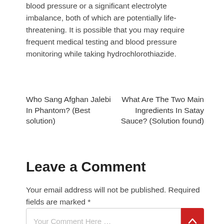blood pressure or a significant electrolyte imbalance, both of which are potentially life-threatening. It is possible that you may require frequent medical testing and blood pressure monitoring while taking hydrochlorothiazide.
Who Sang Afghan Jalebi In Phantom? (Best solution)
What Are The Two Main Ingredients In Satay Sauce? (Solution found)
Leave a Comment
Your email address will not be published. Required fields are marked *